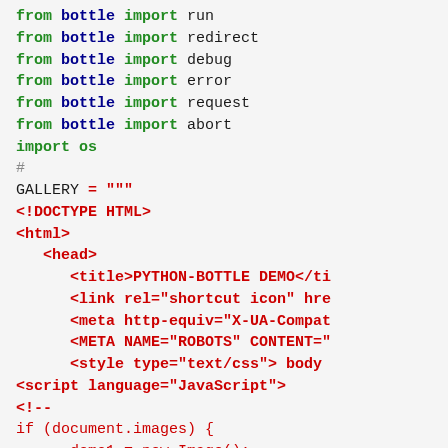[Figure (screenshot): Python source code with syntax highlighting showing bottle framework imports and an HTML template string assignment with embedded HTML/JS content]